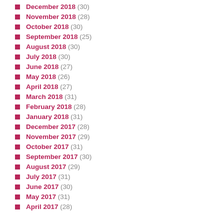December 2018 (30)
November 2018 (28)
October 2018 (30)
September 2018 (25)
August 2018 (30)
July 2018 (30)
June 2018 (27)
May 2018 (26)
April 2018 (27)
March 2018 (31)
February 2018 (28)
January 2018 (31)
December 2017 (28)
November 2017 (29)
October 2017 (31)
September 2017 (30)
August 2017 (29)
July 2017 (31)
June 2017 (30)
May 2017 (31)
April 2017 (28)